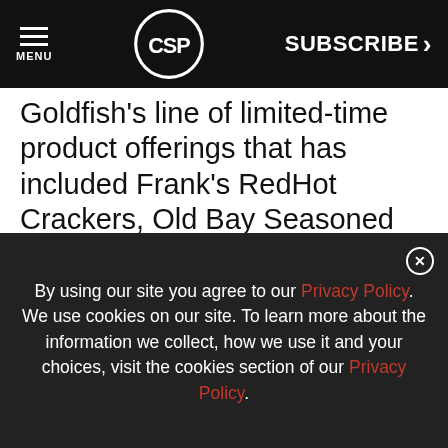MENU | CSP | SUBSCRIBE >
Goldfish's line of limited-time product offerings that has included Frank's RedHot Crackers, Old Bay Seasoned crackers and Jalapeno Popper.
[Figure (screenshot): Advertisement banner featuring T&S brand logo, text 'YEARS Free combi cooking guide', Henny Penn branding, and a Download button. Partial reCAPTCHA widget visible on the right edge.]
By using our site you agree to our Privacy Policy. We use cookies on our site. To learn more about the information we collect, how we use it and your choices, visit the cookies section of our Privacy Policy.